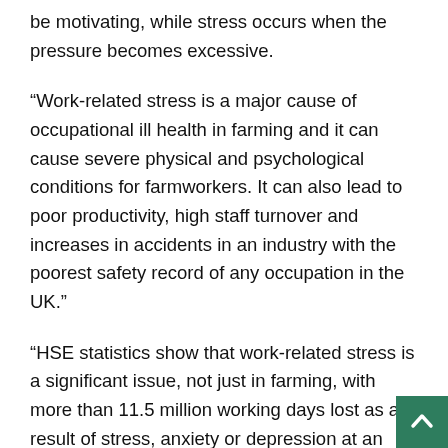be motivating, while stress occurs when the pressure becomes excessive.
“Work-related stress is a major cause of occupational ill health in farming and it can cause severe physical and psychological conditions for farmworkers. It can also lead to poor productivity, high staff turnover and increases in accidents in an industry with the poorest safety record of any occupation in the UK.”
“HSE statistics show that work-related stress is a significant issue, not just in farming, with more than 11.5 million working days lost as a result of stress, anxiety or depression at an estimated cost of £5.2 billion to industry, individuals and the government.”
The government agency stated that legislation requires yo assess the level of risk and hazard in the work-place. This